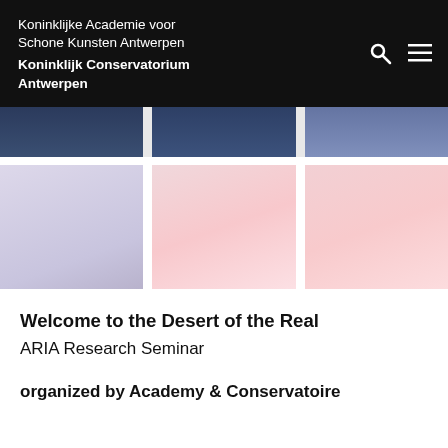Koninklijke Academie voor Schone Kunsten Antwerpen
Koninklijk Conservatorium Antwerpen
[Figure (photo): Three image panels with dark blue/navy gradient at top of page]
[Figure (photo): Three image panels with pale lavender and pink gradient colors]
Welcome to the Desert of the Real
ARIA Research Seminar
organized by Academy & Conservatoire